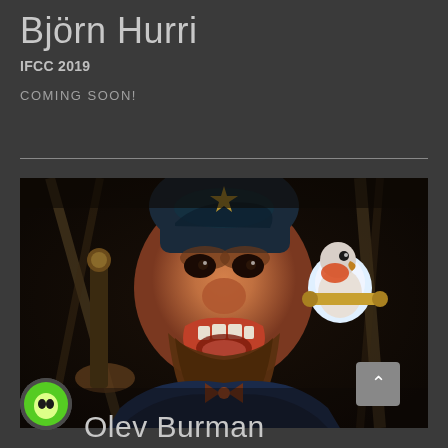Björn Hurri
IFCC 2019
COMING SOON!
[Figure (photo): 3D animated character — a rough-looking pirate or troll figure with an open mouth showing teeth, a large brown beard, wearing a dark blue outfit, with a small parrot-like orange bird on his right shoulder. Background shows wooden ship elements. Close-up face shot from slightly below.]
Olev Burman